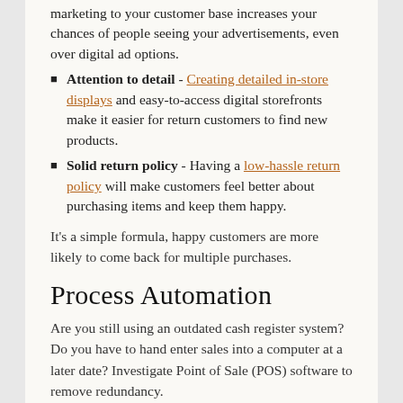marketing to your customer base increases your chances of people seeing your advertisements, even over digital ad options.
Attention to detail - Creating detailed in-store displays and easy-to-access digital storefronts make it easier for return customers to find new products.
Solid return policy - Having a low-hassle return policy will make customers feel better about purchasing items and keep them happy.
It's a simple formula, happy customers are more likely to come back for multiple purchases.
Process Automation
Are you still using an outdated cash register system? Do you have to hand enter sales into a computer at a later date? Investigate Point of Sale (POS) software to remove redundancy.